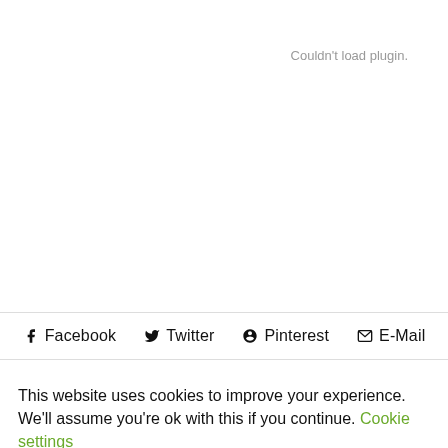Couldn't load plugin.
f Facebook  🐦 Twitter  ⊕ Pinterest  ✉ E-Mail
This website uses cookies to improve your experience. We'll assume you're ok with this if you continue. Cookie settings
ACCEPT